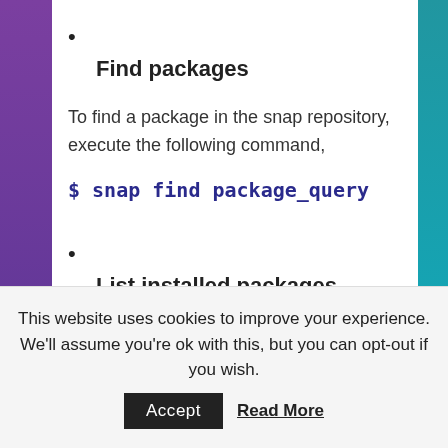•
Find packages
To find a package in the snap repository, execute the following command,
$ snap find package_query
•
List installed packages
This website uses cookies to improve your experience. We'll assume you're ok with this, but you can opt-out if you wish. Accept  Read More